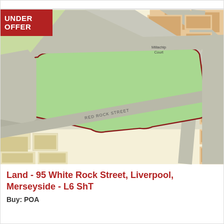[Figure (map): Aerial/plan map view showing a large green land parcel outlined in dark red/brown at 95 White Rock Street, Liverpool. The map shows surrounding streets including Red Rock Street, nearby buildings shown in orange/peach, and green spaces. A label 'Millachip Court' is visible. 'RED ROCK STREET' is labeled on the street.]
Land - 95 White Rock Street, Liverpool, Merseyside - L6 ShT
Buy: POA